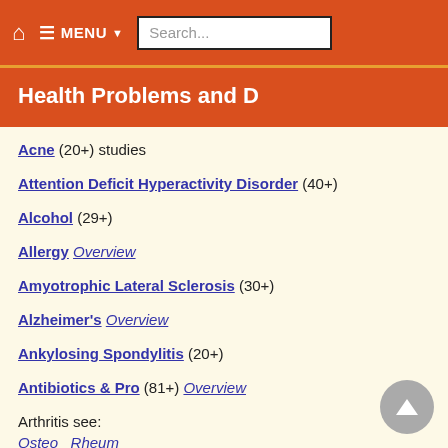MENU Search...
Health Problems and D
Acne (20+) studies
Attention Deficit Hyperactivity Disorder (40+)
Alcohol (29+)
Allergy Overview
Amyotrophic Lateral Sclerosis (30+)
Alzheimer's Overview
Ankylosing Spondylitis (20+)
Antibiotics & Pro (81+) Overview
Arthritis see:
Osteo  Rheum